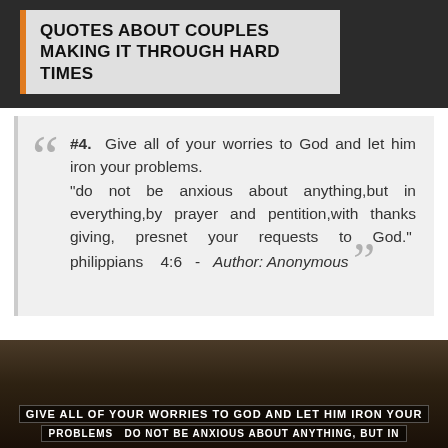QUOTES ABOUT COUPLES MAKING IT THROUGH HARD TIMES
#4. Give all of your worries to God and let him iron your problems. "do not be anxious about anything,but in everything,by prayer and pentition,with thanks giving, presnet your requests to God." philippians 4:6 - Author: Anonymous
[Figure (photo): Dark dramatic sky background with white text overlay reading 'GIVE ALL OF YOUR WORRIES TO GOD AND LET HIM IRON YOUR PROBLEMS' and a second line partially visible]